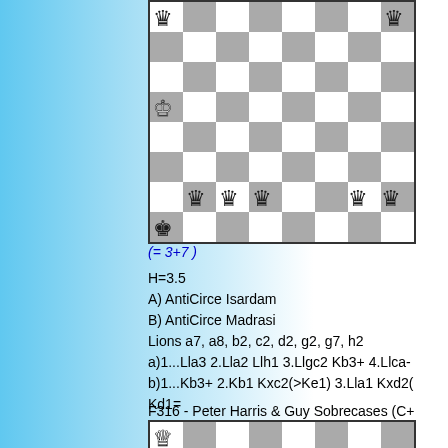[Figure (other): Chess diagram showing a position with white king on a5, black king on a1, white pawns and black lions on various squares]
(= 3+7 )
H=3.5
A) AntiCirce Isardam
B) AntiCirce Madrasi
Lions a7, a8, b2, c2, d2, g2, g7, h2
a)1...Lla3 2.Lla2 Llh1 3.Llgc2 Kb3+ 4.Llca-
b)1...Kb3+ 2.Kb1 Kxc2(>Ke1) 3.Lla1 Kxd2(
Kd1=
F316 - Peter Harris & Guy Sobrecases (C+
[Figure (other): Second chess diagram showing partial position with white pieces on a7 and a6]